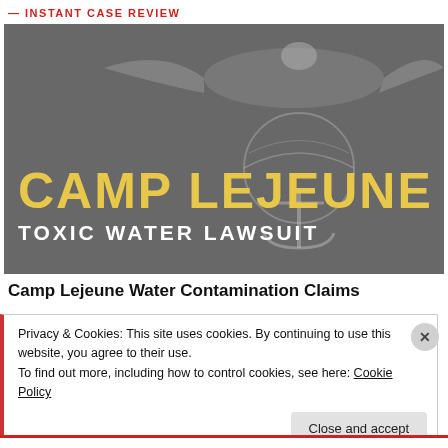— INSTANT CASE REVIEW
[Figure (illustration): Camp Lejeune Toxic Water Lawsuit banner image with USMC eagle globe and anchor emblem on gray background. Large yellow text reads CAMP LEJEUNE, white text reads TOXIC WATER LAWSUIT.]
Camp Lejeune Water Contamination Claims
Privacy & Cookies: This site uses cookies. By continuing to use this website, you agree to their use.
To find out more, including how to control cookies, see here: Cookie Policy
Close and accept